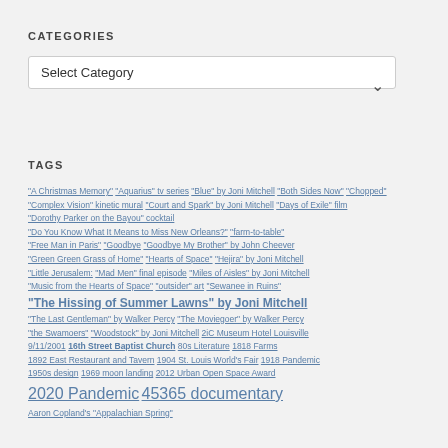CATEGORIES
[Figure (screenshot): A dropdown select box with placeholder text 'Select Category' and a chevron arrow on the right]
TAGS
"A Christmas Memory" "Aquarius" tv series "Blue" by Joni Mitchell "Both Sides Now" "Chopped" "Complex Vision" kinetic mural "Court and Spark" by Joni Mitchell "Days of Exile" film "Dorothy Parker on the Bayou" cocktail "Do You Know What It Means to Miss New Orleans?" "farm-to-table" "Free Man in Paris" "Goodbye "Goodbye My Brother" by John Cheever "Green Green Grass of Home" "Hearts of Space" "Hejira" by Joni Mitchell "Little Jerusalem: "Mad Men" final episode "Miles of Aisles" by Joni Mitchell "Music from the Hearts of Space" "outsider" art "Sewanee in Ruins" "The Hissing of Summer Lawns" by Joni Mitchell "The Last Gentleman" by Walker Percy "The Moviegoer" by Walker Percy "the Swamoers" "Woodstock" by Joni Mitchell 2iC Museum Hotel Louisville 9/11/2001 16th Street Baptist Church 80s Literature 1818 Farms 1892 East Restaurant and Tavern 1904 St. Louis World's Fair 1918 Pandemic 1950s design 1969 moon landing 2012 Urban Open Space Award 2020 Pandemic 45365 documentary Aaron Copland's "Appalachian Spring"